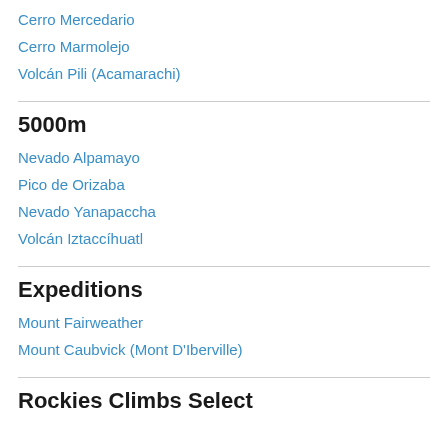Cerro Mercedario
Cerro Marmolejo
Volcán Pili (Acamarachi)
5000m
Nevado Alpamayo
Pico de Orizaba
Nevado Yanapaccha
Volcán Iztaccíhuatl
Expeditions
Mount Fairweather
Mount Caubvick (Mont D'Iberville)
Rockies Climbs Select